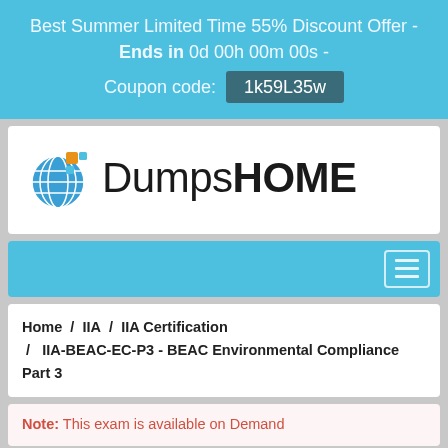Best Summer Limited Time 55% Discount Offer - Ends in 0d 00h 00m 00s - Coupon code: 1k59L35w
[Figure (logo): DumpsHOME logo with globe icon and colored squares]
[Figure (other): Navigation bar with hamburger menu icon]
Home / IIA / IIA Certification / IIA-BEAC-EC-P3 - BEAC Environmental Compliance Part 3
Note: This exam is available on Demand